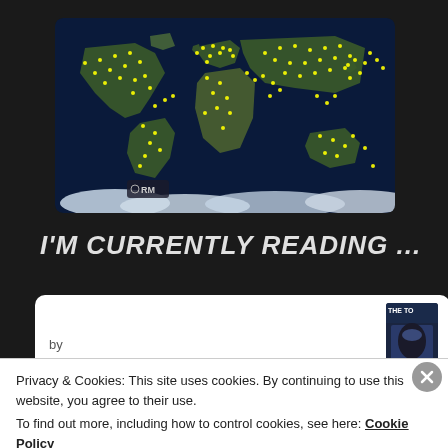[Figure (map): World map with dark blue ocean background showing satellite view of Earth's landmasses with yellow dots scattered across locations worldwide. Bottom-left corner shows RM logo.]
I'M CURRENTLY READING ...
[Figure (photo): Book cover thumbnail showing a dark sci-fi themed cover with THE TO... text visible at top]
by
Privacy & Cookies: This site uses cookies. By continuing to use this website, you agree to their use.
To find out more, including how to control cookies, see here: Cookie Policy
Close and accept